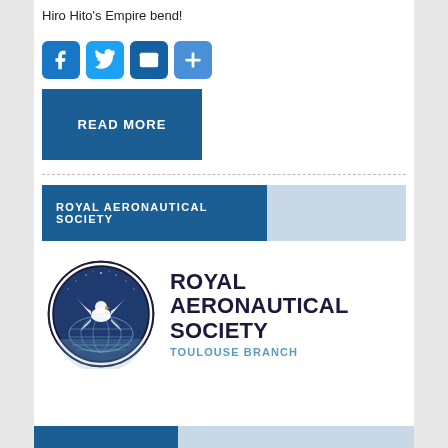Hiro Hito's Empire bend!
[Figure (infographic): Social share buttons: Facebook (blue), Twitter (light blue), Email (dark blue), Share/Plus (blue)]
READ MORE
ROYAL AERONAUTICAL SOCIETY
[Figure (logo): Royal Aeronautical Society Toulouse Branch logo — circular emblem with eagle/bird over globe, dark blue circle border, with text ROYAL AERONAUTICAL SOCIETY TOULOUSE BRANCH]